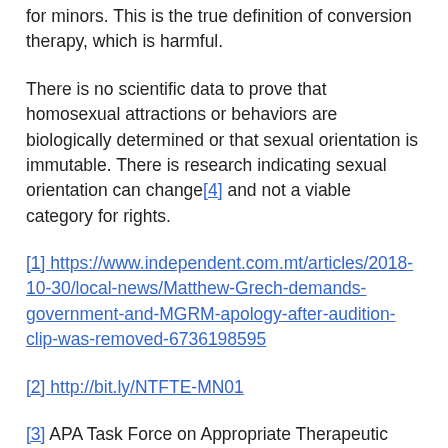for minors. This is the true definition of conversion therapy, which is harmful.
There is no scientific data to prove that homosexual attractions or behaviors are biologically determined or that sexual orientation is immutable. There is research indicating sexual orientation can change[4] and not a viable category for rights.
[1] https://www.independent.com.mt/articles/2018-10-30/local-news/Matthew-Grech-demands-government-and-MGRM-apology-after-audition-clip-was-removed-6736198595
[2] http://bit.ly/NTFTE-MN01
[3] APA Task Force on Appropriate Therapeutic Responses to Sexual Orientation. (2009). Report of the Task Force on Appropriate Therapeutic Responses to Sexual Orientation. Washington, DC: American Psychological Association.